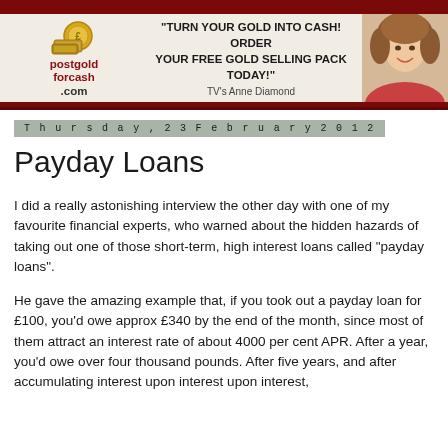[Figure (illustration): postgoldforcash.com banner advertisement with logo, tagline 'TURN YOUR GOLD INTO CASH! ORDER YOUR FREE GOLD SELLING PACK TODAY!' attributed to TV's Anne Diamond, and a photo of a woman smiling on the right side.]
Thursday, 23 February 2012
Payday Loans
I did a really astonishing interview the other day with one of my favourite financial experts, who warned about the hidden hazards of taking out one of those short-term, high interest loans called "payday loans".
He gave the amazing example that, if you took out a payday loan for £100, you'd owe approx £340 by the end of the month, since most of them attract an interest rate of about 4000 per cent APR. After a year, you'd owe over four thousand pounds. After five years, and after accumulating interest upon interest upon interest,